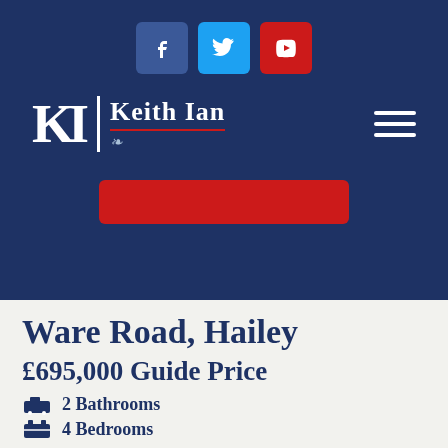[Figure (logo): Keith Ian estate agent logo with KI monogram in white on dark navy background, with social media icons (Facebook, Twitter, YouTube) and hamburger menu]
Ware Road, Hailey
£695,000 Guide Price
2 Bathrooms
4 Bedrooms